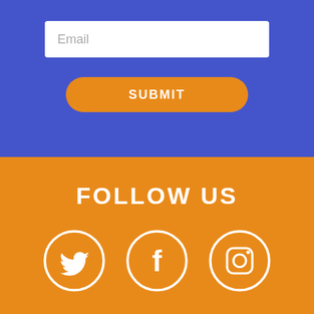Email
SUBMIT
FOLLOW US
[Figure (illustration): Three white circular social media icons on orange background: Twitter bird, Facebook f, Instagram camera]